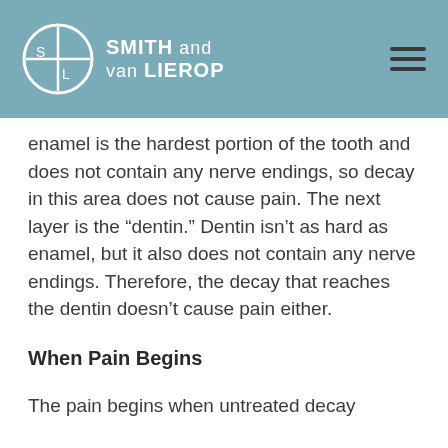SMITH and van LIEROP
enamel is the hardest portion of the tooth and does not contain any nerve endings, so decay in this area does not cause pain. The next layer is the “dentin.” Dentin isn’t as hard as enamel, but it also does not contain any nerve endings. Therefore, the decay that reaches the dentin doesn’t cause pain either.
When Pain Begins
The pain begins when untreated decay